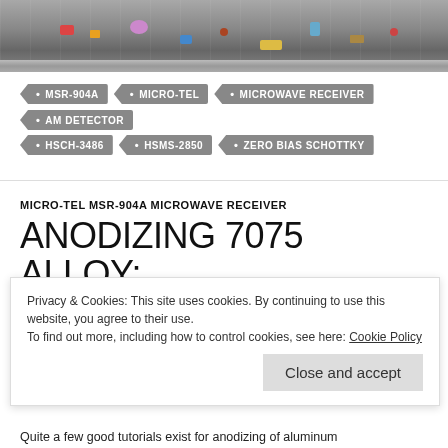[Figure (photo): Photo of the interior of a Micro-Tel MSR-904A microwave receiver, showing electronic components on a metal chassis]
MSR-904A
MICRO-TEL
MICROWAVE RECEIVER
AM DETECTOR
HSCH-3486
HSMS-2850
ZERO BIAS SCHOTTKY
MICRO-TEL MSR-904A MICROWAVE RECEIVER
ANODIZING 7075 ALLOY: MICRO-TEL HANDLES
Privacy & Cookies: This site uses cookies. By continuing to use this website, you agree to their use.
To find out more, including how to control cookies, see here: Cookie Policy
Close and accept
Quite a few good tutorials exist for anodizing of aluminum